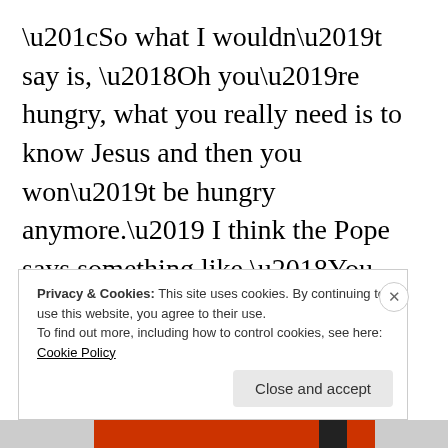“So what I wouldn’t say is, ‘Oh you’re hungry, what you really need is to know Jesus and then you won’t be hungry anymore.’ I think the Pope says something like ‘You feed the hungry and then you pray for them and that is how prayer works. You don’t just pray that God will end poverty. You meet the need then you pray.’ I think that’s a very
Privacy & Cookies: This site uses cookies. By continuing to use this website, you agree to their use.
To find out more, including how to control cookies, see here:
Cookie Policy